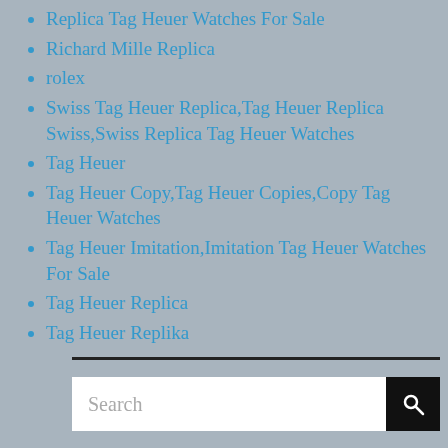Replica Tag Heuer Watches For Sale
Richard Mille Replica
rolex
Swiss Tag Heuer Replica,Tag Heuer Replica Swiss,Swiss Replica Tag Heuer Watches
Tag Heuer
Tag Heuer Copy,Tag Heuer Copies,Copy Tag Heuer Watches
Tag Heuer Imitation,Imitation Tag Heuer Watches For Sale
Tag Heuer Replica
Tag Heuer Replika